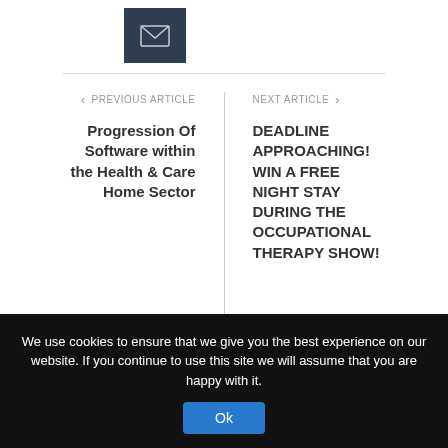[Figure (logo): Dark navy/charcoal square with a white envelope icon (mail symbol)]
PREVIOUS ARTICLE
Progression Of Software within the Health & Care Home Sector
NEXT ARTICLE
DEADLINE APPROACHING! WIN A FREE NIGHT STAY DURING THE OCCUPATIONAL THERAPY SHOW!
RELATED POSTS
We use cookies to ensure that we give you the best experience on our website. If you continue to use this site we will assume that you are happy with it.